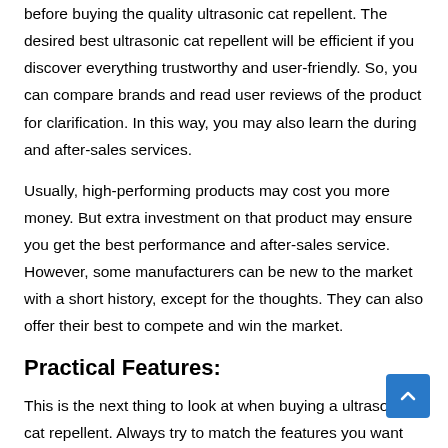before buying the quality ultrasonic cat repellent. The desired best ultrasonic cat repellent will be efficient if you discover everything trustworthy and user-friendly. So, you can compare brands and read user reviews of the product for clarification. In this way, you may also learn the during and after-sales services.
Usually, high-performing products may cost you more money. But extra investment on that product may ensure you get the best performance and after-sales service. However, some manufacturers can be new to the market with a short history, except for the thoughts. They can also offer their best to compete and win the market.
Practical Features:
This is the next thing to look at when buying a ultrasonic cat repellent. Always try to match the features you want with the selected product. Therefore, some products may miss a few features, but still, they can be efficient for your project. Our